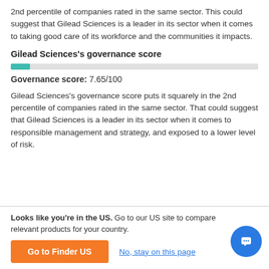2nd percentile of companies rated in the same sector. This could suggest that Gilead Sciences is a leader in its sector when it comes to taking good care of its workforce and the communities it impacts.
Gilead Sciences's governance score
[Figure (other): Horizontal progress bar showing governance score of 7.65/100, with teal/green fill on the left and grey background.]
Governance score: 7.65/100
Gilead Sciences's governance score puts it squarely in the 2nd percentile of companies rated in the same sector. That could suggest that Gilead Sciences is a leader in its sector when it comes to responsible management and strategy, and exposed to a lower level of risk.
Looks like you're in the US. Go to our US site to compare relevant products for your country. [Go to Finder US] [No, stay on this page]